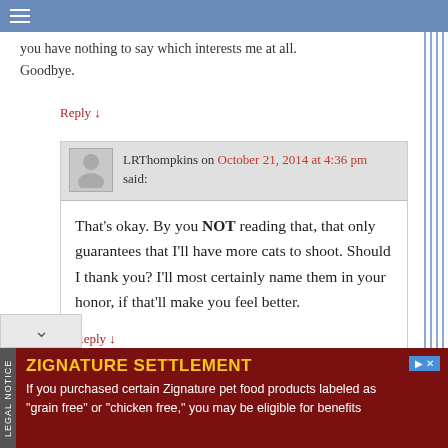you have nothing to say which interests me at all.
Goodbye.
Reply ↓
LRThompkins on October 21, 2014 at 4:36 pm said:
That's okay. By you NOT reading that, that only guarantees that I'll have more cats to shoot. Should I thank you? I'll most certainly name them in your honor, if that'll make you feel better.
Reply ↓
[Figure (other): Advertisement banner for Zignature Settlement legal notice. Yellow title 'ZIGNATURE SETTLEMENT' on dark red background. Text reads: If you purchased certain Zignature pet food products labeled as "grain free" or "chicken free," you may be eligible for benefits]